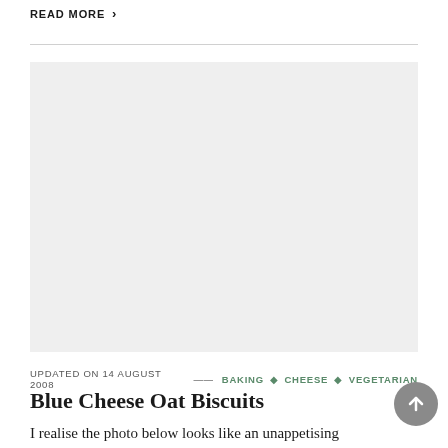READ MORE ›
[Figure (photo): Light grey placeholder image for a recipe article about Blue Cheese Oat Biscuits]
UPDATED ON 14 AUGUST 2008 — BAKING • CHEESE • VEGETARIAN
Blue Cheese Oat Biscuits
I realise the photo below looks like an unappetising